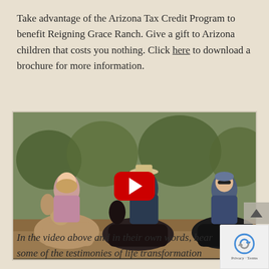Take advantage of the Arizona Tax Credit Program to benefit Reigning Grace Ranch. Give a gift to Arizona children that costs you nothing. Click here to download a brochure for more information.
[Figure (photo): Three people on horseback outdoors with trees in background. A young woman on the left wearing a pink vest and blue long-sleeve shirt, a man in the center wearing a dark jacket and cowboy hat, and a woman on the right wearing a blue vest and sunglasses. A YouTube play button overlay is centered on the image.]
In the video above and in their own words, hear some of the testimonies of life transformation